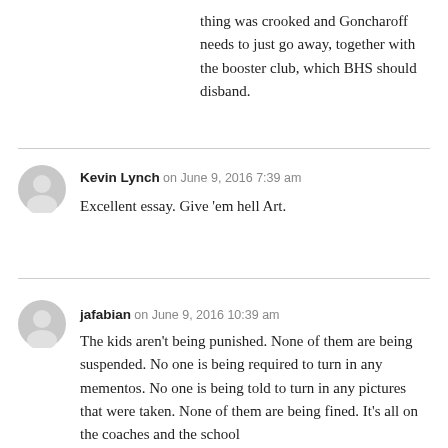thing was crooked and Goncharoff needs to just go away, together with the booster club, which BHS should disband.
Kevin Lynch  on June 9, 2016 7:39 am
Excellent essay. Give 'em hell Art.
jafabian  on June 9, 2016 10:39 am
The kids aren't being punished. None of them are being suspended. No one is being required to turn in any mementos. No one is being told to turn in any pictures that were taken. None of them are being fined. It's all on the coaches and the school